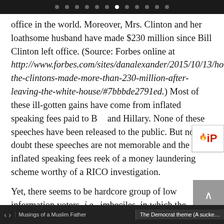• • • • • • • (active) • • • • •
office in the world. Moreover, Mrs. Clinton and her loathsome husband have made $230 million since Bill Clinton left office. (Source: Forbes online at http://www.forbes.com/sites/danalexander/2015/10/13/how-the-clintons-made-more-than-230-million-after-leaving-the-white-house/#7bbbde2791ed.) Most of these ill-gotten gains have come from inflated speaking fees paid to Bill and Hillary. None of these speeches have been released to the public. But no doubt these speeches are not memorable and the inflated speaking fees reek of a money laundering scheme worthy of a RICO investigation.
Yet, there seems to be hardcore group of low information voters, i.e., imbeciles, in which the immorality of Hillary Clinton's actions doesn't seem to bother them much. But they are bothered by Olympian loc...
Musings of a Muslim Father | The Democrat theme (A sucker ...